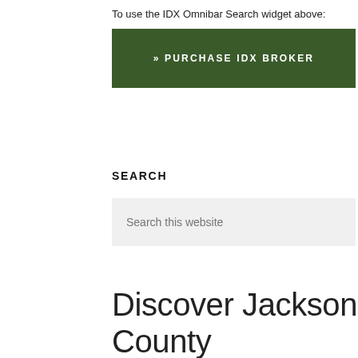To use the IDX Omnibar Search widget above:
[Figure (screenshot): Green button labeled '» PURCHASE IDX BROKER' followed by a period]
SEARCH
[Figure (screenshot): Search input box with placeholder text 'Search this website']
Discover Jackson County